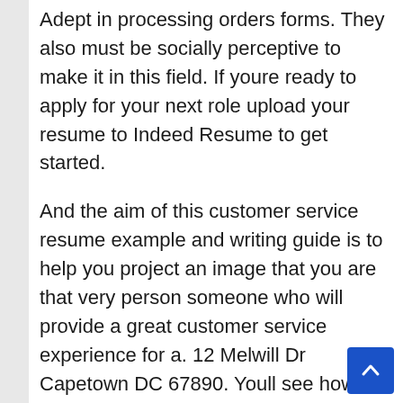Adept in processing orders forms. They also must be socially perceptive to make it in this field. If youre ready to apply for your next role upload your resume to Indeed Resume to get started.
And the aim of this customer service resume example and writing guide is to help you project an image that you are that very person someone who will provide a great customer service experience for a. 12 Melwill Dr Capetown DC 67890. Youll see how we incorporated them into the customer service resume below.
I am an energetic Customer Service Representative with 3 years of experience in